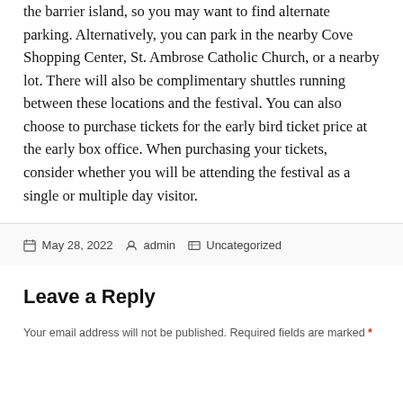the barrier island, so you may want to find alternate parking. Alternatively, you can park in the nearby Cove Shopping Center, St. Ambrose Catholic Church, or a nearby lot. There will also be complimentary shuttles running between these locations and the festival. You can also choose to purchase tickets for the early bird ticket price at the early box office. When purchasing your tickets, consider whether you will be attending the festival as a single or multiple day visitor.
Posted on May 28, 2022 By admin Categories Uncategorized
Leave a Reply
Your email address will not be published. Required fields are marked *